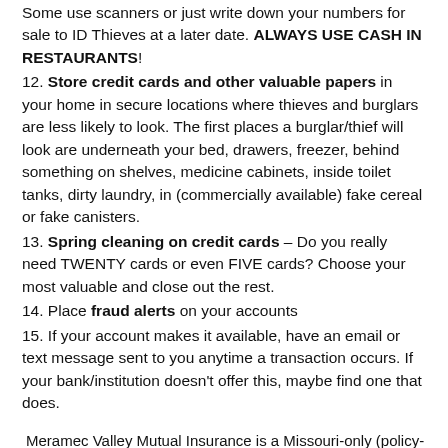Some use scanners or just write down your numbers for sale to ID Thieves at a later date. ALWAYS USE CASH IN RESTAURANTS!
12. Store credit cards and other valuable papers in your home in secure locations where thieves and burglars are less likely to look. The first places a burglar/thief will look are underneath your bed, drawers, freezer, behind something on shelves, medicine cabinets, inside toilet tanks, dirty laundry, in (commercially available) fake cereal or fake canisters.
13. Spring cleaning on credit cards – Do you really need TWENTY cards or even FIVE cards? Choose your most valuable and close out the rest.
14. Place fraud alerts on your accounts
15. If your account makes it available, have an email or text message sent to you anytime a transaction occurs. If your bank/institution doesn't offer this, maybe find one that does.
Meramec Valley Mutual Insurance is a Missouri-only (policy-owner-owned) insurance company established in 1887 and located in Hillsboro, Missouri. For more information about